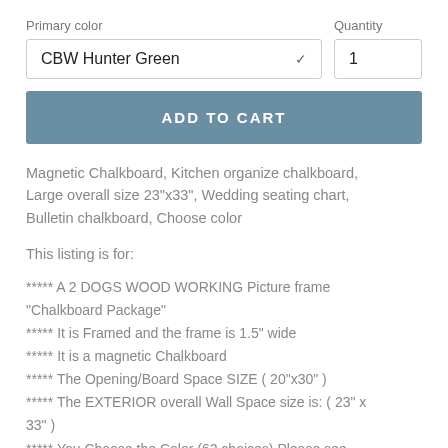Primary color
Quantity
CBW Hunter Green
1
ADD TO CART
Magnetic Chalkboard, Kitchen organize chalkboard, Large overall size 23"x33", Wedding seating chart, Bulletin chalkboard, Choose color
This listing is for:
***** A 2 DOGS WOOD WORKING Picture frame "Chalkboard Package"
***** It is Framed and the frame is 1.5" wide
***** It is a magnetic Chalkboard
***** The Opening/Board Space SIZE ( 20"x30" )
***** The EXTERIOR overall Wall Space size is: ( 23" x 33" )
***** You Choose the Color (62 choices) Please see